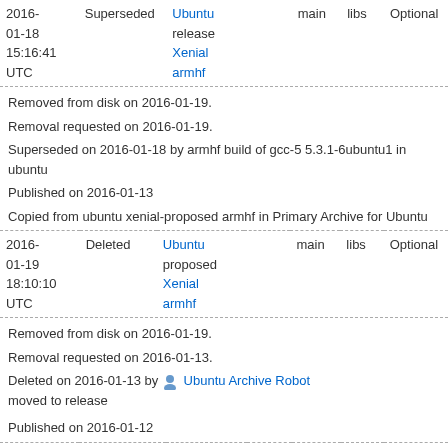| Date | Status | Distro | Pocket | Component | Section | Priority |
| --- | --- | --- | --- | --- | --- | --- |
| 2016-01-18 15:16:41 UTC | Superseded | Ubuntu Xenial armhf | release | main | libs | Optional |
Removed from disk on 2016-01-19.
Removal requested on 2016-01-19.
Superseded on 2016-01-18 by armhf build of gcc-5 5.3.1-6ubuntu1 in ubuntu
Published on 2016-01-13
Copied from ubuntu xenial-proposed armhf in Primary Archive for Ubuntu
| Date | Status | Distro | Pocket | Component | Section | Priority |
| --- | --- | --- | --- | --- | --- | --- |
| 2016-01-19 18:10:10 UTC | Deleted | Ubuntu Xenial armhf | proposed | main | libs | Optional |
Removed from disk on 2016-01-19.
Removal requested on 2016-01-13.
Deleted on 2016-01-13 by Ubuntu Archive Robot
moved to release
Published on 2016-01-12
| Date | Status | Distro | Pocket | Component | Section | Priority |
| --- | --- | --- | --- | --- | --- | --- |
| 2016-01-13 12:23:24 UTC | Superseded | Ubuntu Xenial armhf | release | main | libs | Optional |